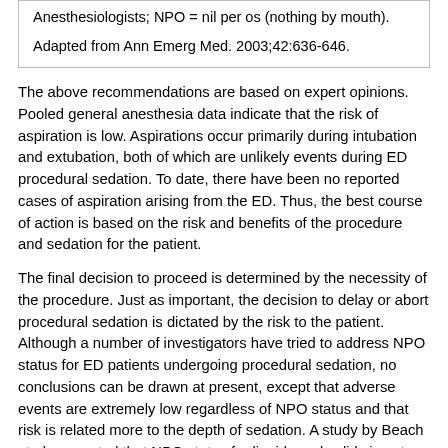Anesthesiologists; NPO = nil per os (nothing by mouth).
Adapted from Ann Emerg Med. 2003;42:636-646.
The above recommendations are based on expert opinions. Pooled general anesthesia data indicate that the risk of aspiration is low. Aspirations occur primarily during intubation and extubation, both of which are unlikely events during ED procedural sedation. To date, there have been no reported cases of aspiration arising from the ED. Thus, the best course of action is based on the risk and benefits of the procedure and sedation for the patient.
The final decision to proceed is determined by the necessity of the procedure. Just as important, the decision to delay or abort procedural sedation is dictated by the risk to the patient. Although a number of investigators have tried to address NPO status for ED patients undergoing procedural sedation, no conclusions can be drawn at present, except that adverse events are extremely low regardless of NPO status and that risk is related more to the depth of sedation. A study by Beach et al suggested that NPO status for liquids and solids is not an independent predictor of major complications or aspiration in this sedation/anesthesia data set.[8]  A secondary analysis of a multicenter prospective cohort study that included 6,183 children who received procedural sedation also found no association between fasting duration and any type of adverse event.[9]
Even so, it is prudent to expect the worst and to have suction and airway equipment at the bedside and ready to use if necessary. Equipment should include an appropriately sized positive-pressure oxygen delivery system, suction apparatus, and suction catheters (eg, tonsil, Yankauer). Age-